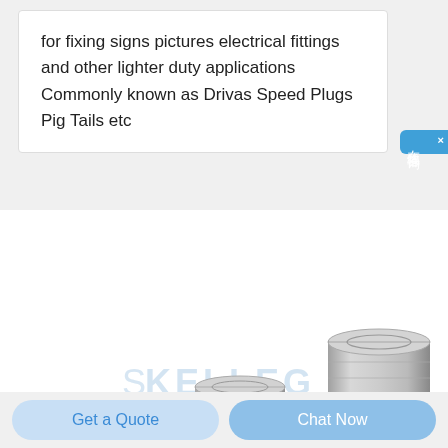for fixing signs pictures electrical fittings and other lighter duty applications Commonly known as Drivas Speed Plugs Pig Tails etc
[Figure (photo): Three cylindrical threaded metal inserts (rivet nuts / barrel nuts) of increasing heights side by side, with KELLEG watermark. Products are silver/chrome colored with visible internal threading.]
Get a Quote
Chat Now